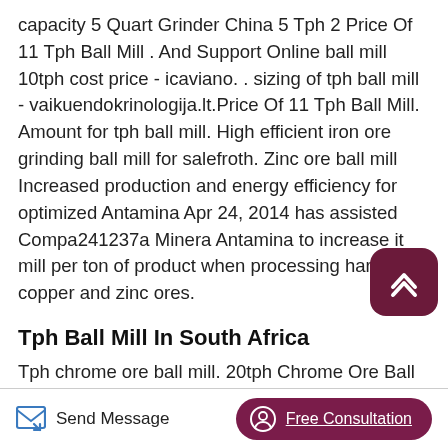capacity 5 Quart Grinder China 5 Tph 2 Price Of 11 Tph Ball Mill . And Support Online ball mill 10tph cost price - icaviano. . sizing of tph ball mill - vaikuendokrinologija.lt.Price Of 11 Tph Ball Mill. Amount for tph ball mill. High efficient iron ore grinding ball mill for salefroth. Zinc ore ball mill Increased production and energy efficiency for optimized Antamina Apr 24, 2014 has assisted Compa241237a Minera Antamina to increase it mill per ton of product when processing hard copper and zinc ores.
Tph Ball Mill In South Africa
Tph chrome ore ball mill. 20tph Chrome Ore Ball
[Figure (other): Scroll-to-top button: rounded square with dark maroon background and upward chevron arrow icon]
Send Message | Free Consultation